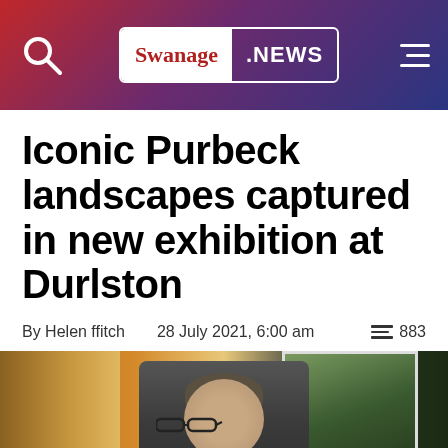Swanage .NEWS
Iconic Purbeck landscapes captured in new exhibition at Durlston
By Helen ffitch   28 July 2021, 6:00 am   883
[Figure (photo): A man with grey hair and glasses standing in front of a landscape photograph at an art exhibition. Warm wooden interior lighting visible.]